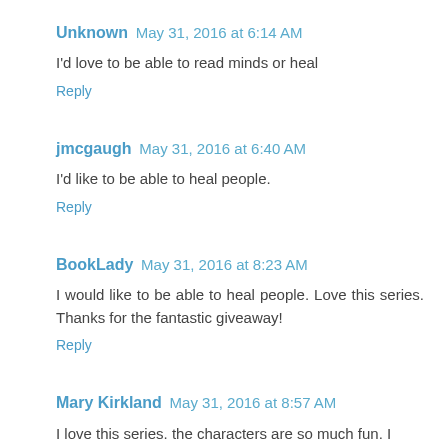Unknown May 31, 2016 at 6:14 AM
I'd love to be able to read minds or heal
Reply
jmcgaugh May 31, 2016 at 6:40 AM
I'd like to be able to heal people.
Reply
BookLady May 31, 2016 at 8:23 AM
I would like to be able to heal people. Love this series. Thanks for the fantastic giveaway!
Reply
Mary Kirkland May 31, 2016 at 8:57 AM
I love this series. the characters are so much fun. I think if I